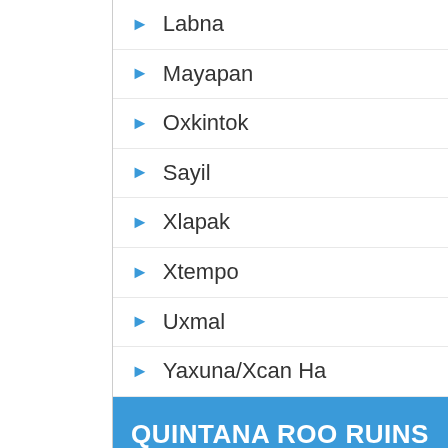Labna
Mayapan
Oxkintok
Sayil
Xlapak
Xtempo
Uxmal
Yaxuna/Xcan Ha
QUINTANA ROO RUINS
Quintana Roo Ruins Map
Coba